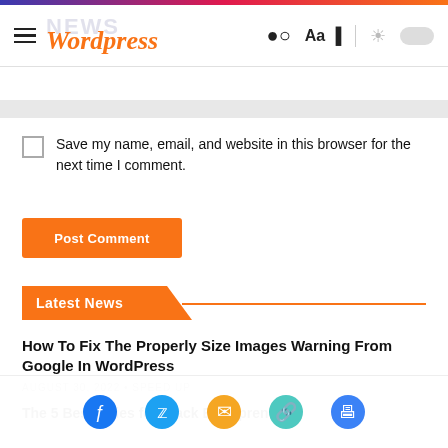NEWS Wordpress
Save my name, email, and website in this browser for the next time I comment.
Post Comment
Latest News
How To Fix The Properly Size Images Warning From Google In WordPress
AUGUST 30, 2022 • SPEED UP
The 5 Best Cities for Black Entrepreneurs
AUGUST 30, 2022 • SEO
Inflation-Ba… & How Not to Address It in Your Messaging